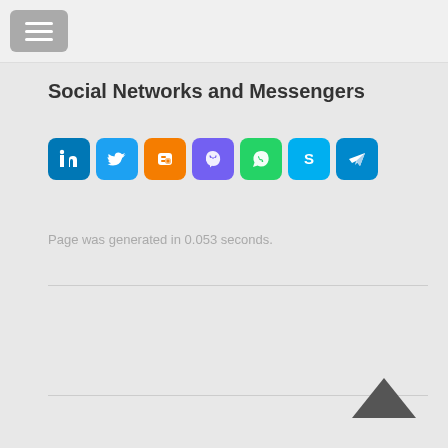menu button / navigation header
Social Networks and Messengers
[Figure (infographic): Row of social network and messenger icons: LinkedIn (blue), Twitter (light blue), Blogger (orange), Viber (purple), WhatsApp (green), Skype (light blue), Telegram (blue)]
Page was generated in 0.053 seconds.
[Figure (other): Up arrow chevron icon at bottom right]